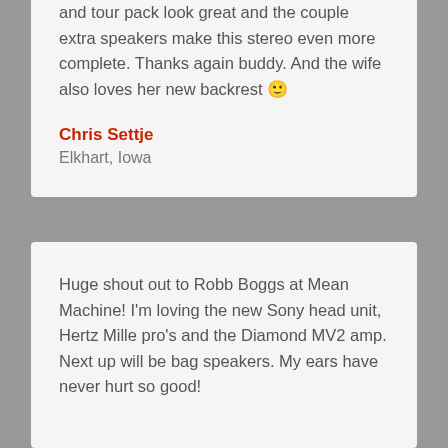and tour pack look great and the couple extra speakers make this stereo even more complete. Thanks again buddy. And the wife also loves her new backrest 🙂
Chris Settje
Elkhart, Iowa
Huge shout out to Robb Boggs at Mean Machine! I'm loving the new Sony head unit, Hertz Mille pro's and the Diamond MV2 amp. Next up will be bag speakers. My ears have never hurt so good!